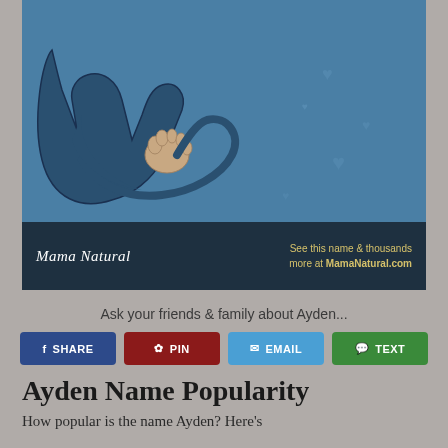[Figure (illustration): Mama Natural branded card showing a blue illustrated image of hands holding a baby, with 'Pronunciation ay-den' in gold text top right, and a dark footer bar with the Mama Natural logo and text 'See this name & thousands more at MamaNatural.com']
Ask your friends & family about Ayden...
[Figure (infographic): Row of four share buttons: SHARE (dark blue), PIN (dark red), EMAIL (light blue), TEXT (green)]
Ayden Name Popularity
How popular is the name Ayden? Here's